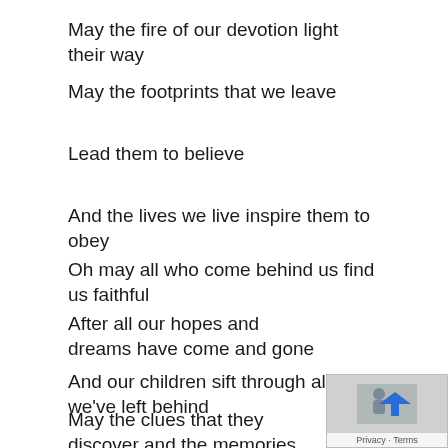May the fire of our devotion light their way
May the footprints that we leave
Lead them to believe
And the lives we live inspire them to obey
Oh may all who come behind us find us faithful
After all our hopes and dreams have come and gone
And our children sift through all we've left behind
May the clues that they discover and the memories they uncover
[Figure (other): Google Maps privacy overlay with arrow icon and Privacy/Terms links]